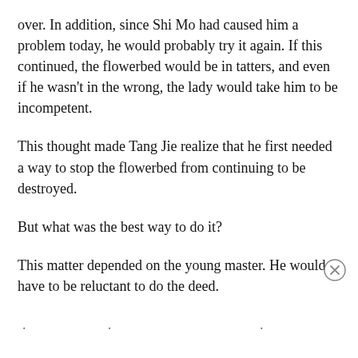over. In addition, since Shi Mo had caused him a problem today, he would probably try it again. If this continued, the flowerbed would be in tatters, and even if he wasn't in the wrong, the lady would take him to be incompetent.
This thought made Tang Jie realize that he first needed a way to stop the flowerbed from continuing to be destroyed.
But what was the best way to do it?
This matter depended on the young master. He would have to be reluctant to do the deed.
...